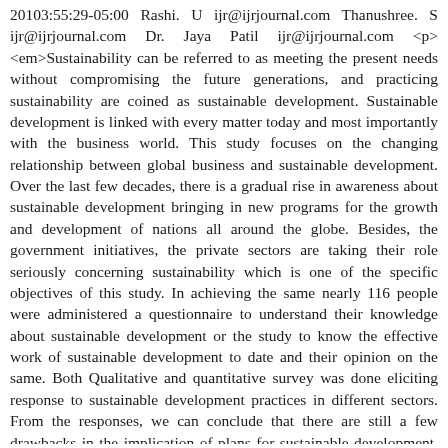20103:55:29-05:00 Rashi. U ijr@ijrjournal.com Thanushree. S ijr@ijrjournal.com Dr. Jaya Patil ijr@ijrjournal.com <p><em>Sustainability can be referred to as meeting the present needs without compromising the future generations, and practicing sustainability are coined as sustainable development. Sustainable development is linked with every matter today and most importantly with the business world. This study focuses on the changing relationship between global business and sustainable development. Over the last few decades, there is a gradual rise in awareness about sustainable development bringing in new programs for the growth and development of nations all around the globe. Besides, the government initiatives, the private sectors are taking their role seriously concerning sustainability which is one of the specific objectives of this study. In achieving the same nearly 116 people were administered a questionnaire to understand their knowledge about sustainable development or the study to know the effective work of sustainable development to date and their opinion on the same. Both Qualitative and quantitative survey was done eliciting response to sustainable development practices in different sectors. From the responses, we can conclude that there are still a few drawbacks in the implication of plans for sustainable development, for which attention and actions are needed. And we can also see individuals are doing their best to contribute to sustainable practices which can become a beacon of light to the Government as well as to the international organizations that are